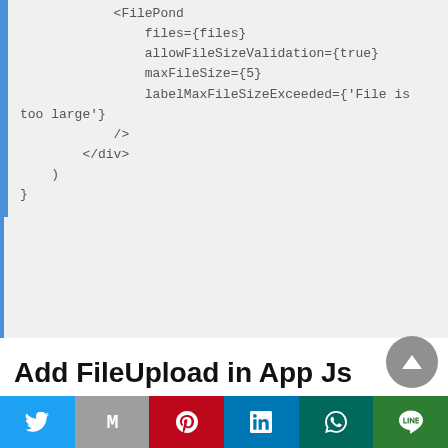[Figure (screenshot): Code block showing JSX with FilePond component with allowFileSizeValidation, maxFileSize, and labelMaxFileSizeExceeded props, followed by closing div and braces]
Add FileUpload in App Js
The app js component or a function is the file that